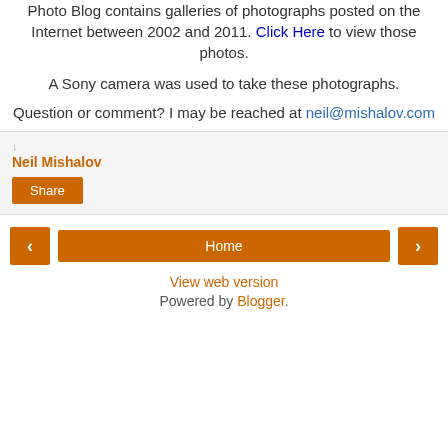Photo Blog contains galleries of photographs posted on the Internet between 2002 and 2011. Click Here to view those photos.
A Sony camera was used to take these photographs.
Question or comment? I may be reached at neil@mishalov.com
Neil Mishalov
Share
Home
View web version
Powered by Blogger.